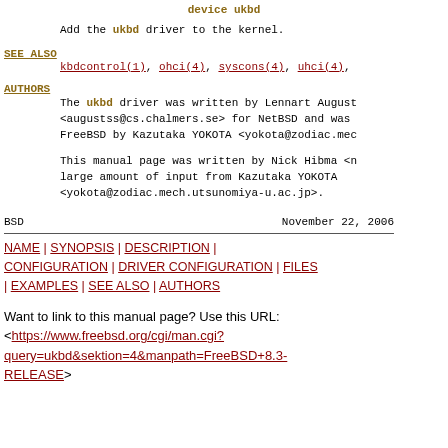device ukbd
Add the ukbd driver to the kernel.
SEE ALSO
kbdcontrol(1), ohci(4), syscons(4), uhci(4),
AUTHORS
The ukbd driver was written by Lennart August <augustss@cs.chalmers.se> for NetBSD and was FreeBSD by Kazutaka YOKOTA <yokota@zodiac.mec
This manual page was written by Nick Hibma <n large amount of input from Kazutaka YOKOTA <yokota@zodiac.mech.utsunomiya-u.ac.jp>.
BSD                          November 22, 2006
NAME | SYNOPSIS | DESCRIPTION | CONFIGURATION | DRIVER CONFIGURATION | FILES | EXAMPLES | SEE ALSO | AUTHORS
Want to link to this manual page? Use this URL: <https://www.freebsd.org/cgi/man.cgi?query=ukbd&sektion=4&manpath=FreeBSD+8.3-RELEASE>